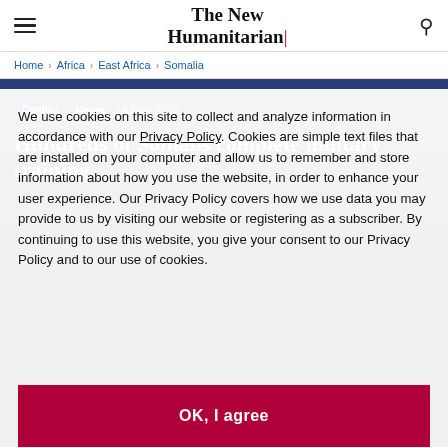The New Humanitarian
Home > Africa > East Africa > Somalia
Conflict   News: 14 May 2012
Hundreds of Somalis complete military training
We use cookies on this site to collect and analyze information in accordance with our Privacy Policy. Cookies are simple text files that are installed on your computer and allow us to remember and store information about how you use the website, in order to enhance your user experience. Our Privacy Policy covers how we use data you may provide to us by visiting our website or registering as a subscriber. By continuing to use this website, you give your consent to our Privacy Policy and to our use of cookies.
OK, I agree